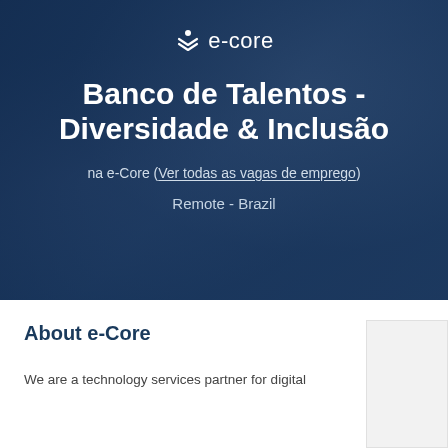[Figure (photo): Hero banner with a photo background showing people working on laptops in an office setting, overlaid with a dark blue tint. Contains the e-Core logo, a main title in Portuguese, a subtitle with a link, and a location tag.]
Banco de Talentos - Diversidade & Inclusão
na e-Core (Ver todas as vagas de emprego)
Remote - Brazil
About e-Core
We are a technology services partner for digital